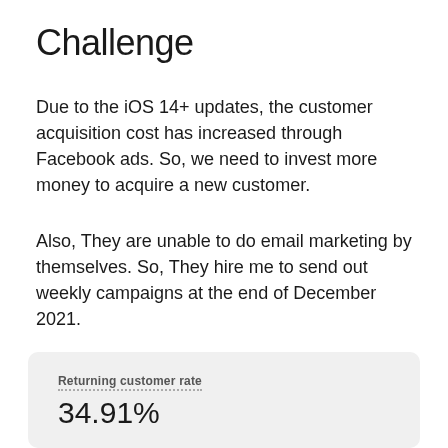Challenge
Due to the iOS 14+ updates, the customer acquisition cost has increased through Facebook ads. So, we need to invest more money to acquire a new customer.
Also, They are unable to do email marketing by themselves. So, They hire me to send out weekly campaigns at the end of December 2021.
Returning customer rate
34.91%